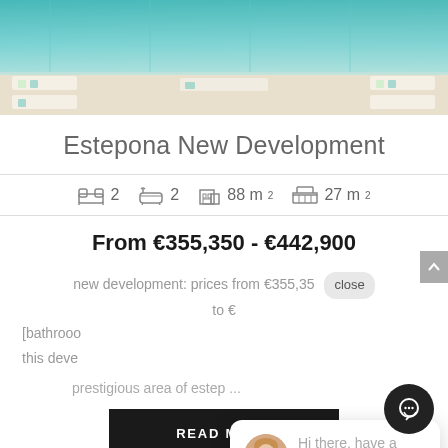[Figure (photo): Aerial view of swimming pool with white sun loungers around it]
Estepona New Development
2 bedrooms  2 bathrooms  88 m²  27 m²
From €355,350 - €442,900
new development: prices from €355,35  close  to €
[bathroom  this deve  prestigious area of estep ...
[Figure (photo): Chat widget with agent avatar: Hi there, have a question? Text us here.]
READ MORE